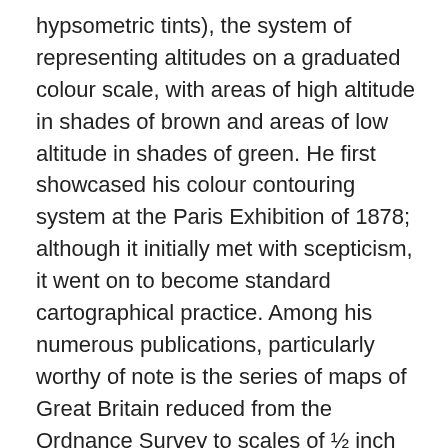hypsometric tints), the system of representing altitudes on a graduated colour scale, with areas of high altitude in shades of brown and areas of low altitude in shades of green. He first showcased his colour contouring system at the Paris Exhibition of 1878; although it initially met with scepticism, it went on to become standard cartographical practice. Among his numerous publications, particularly worthy of note is the series of maps of Great Britain reduced from the Ordnance Survey to scales of ½ inch and ¾ inch to 1 mile, with relief shown by contour lines and hypsometric tints. The ½ inch series is among the finest of its kind ever produced. Upon his retirement in 1888, John Bartholomew was succeeded in the firm by his son John George, who extended the ½ inch series, and applied its principles to many other works. For the